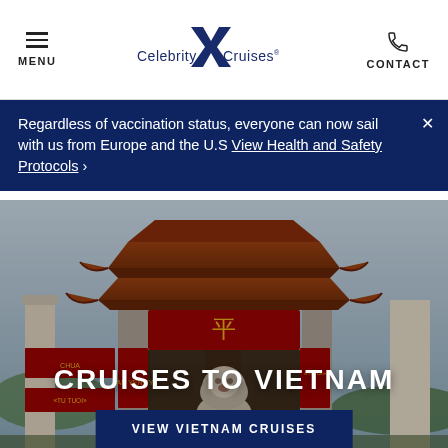MENU | Celebrity Cruises | CONTACT
Regardless of vaccination status, everyone can now sail with us from Europe and the U.S View Health and Safety Protocols ›
[Figure (photo): Vietnamese temple gate with ornate curved roofs and a stone lion statue in the foreground, overcast sky]
CRUISES TO VIETNAM
VIEW VIETNAM CRUISES